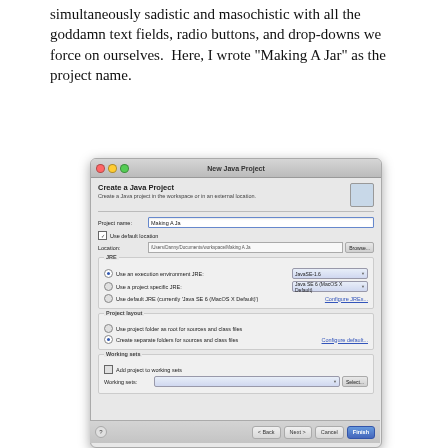simultaneously sadistic and masochistic with all the goddamn text fields, radio buttons, and drop-downs we force on ourselves.  Here, I wrote "Making A Jar" as the project name.
[Figure (screenshot): Eclipse 'New Java Project' dialog box on Mac OS X, showing a project name field filled with 'Making A Ja', location field, JRE section with radio buttons, Project layout section, and Working sets section. Navigation buttons at bottom.]